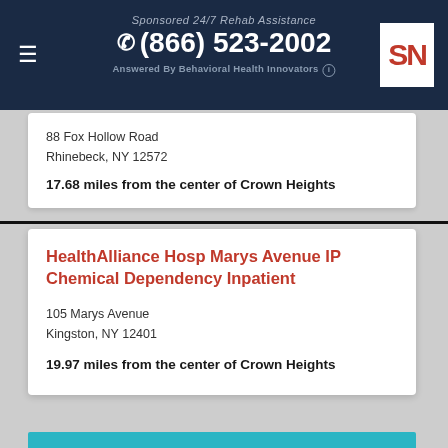Sponsored 24/7 Rehab Assistance | (866) 523-2002 | Answered By Behavioral Health Innovators
88 Fox Hollow Road
Rhinebeck, NY 12572
17.68 miles from the center of Crown Heights
HealthAlliance Hosp Marys Avenue IP Chemical Dependency Inpatient
105 Marys Avenue
Kingston, NY 12401
19.97 miles from the center of Crown Heights